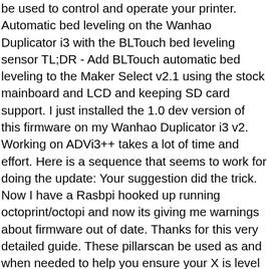be used to control and operate your printer. Automatic bed leveling on the Wanhao Duplicator i3 with the BLTouch bed leveling sensor TL;DR - Add BLTouch automatic bed leveling to the Maker Select v2.1 using the stock mainboard and LCD and keeping SD card support. I just installed the 1.0 dev version of this firmware on my Wanhao Duplicator i3 v2. Working on ADVi3++ takes a lot of time and effort. Here is a sequence that seems to work for doing the update: Your suggestion did the trick. Now I have a Rasbpi hooked up running octoprint/octopi and now its giving me warnings about firmware out of date. Thanks for this very detailed guide. These pillarscan be used as and when needed to help you ensure your X is level before doing y… I'd especially like to point out the posts I found most useful:
https://www.reddit.com/r/3Dprinting/comments/8o3wg8/installing_mar
Fear not! I have upgraded almost every part of it (still pretty shitty, especially the bed) but have never touched the firmware. We recommend Repetier-Host for it's easy to use interface and opensource background. This is a zipped folder with marlin firmware for a Maker Select V2 (also known as Wanhao Duplicator i3) with a ramps gen 1.4 board. Wanhao is proud to introduce an entry-level 3D printer designed for customers who want to begin 3D printing